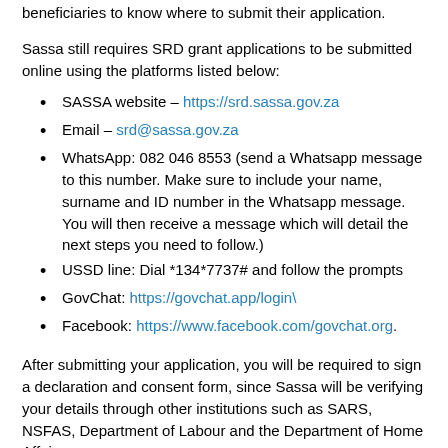beneficiaries to know where to submit their application.
Sassa still requires SRD grant applications to be submitted online using the platforms listed below:
SASSA website – https://srd.sassa.gov.za
Email – srd@sassa.gov.za
WhatsApp: 082 046 8553 (send a Whatsapp message to this number. Make sure to include your name, surname and ID number in the Whatsapp message. You will then receive a message which will detail the next steps you need to follow.)
USSD line: Dial *134*7737# and follow the prompts
GovChat: https://govchat.app/login\
Facebook: https://www.facebook.com/govchat.org.
After submitting your application, you will be required to sign a declaration and consent form, since Sassa will be verifying your details through other institutions such as SARS, NSFAS, Department of Labour and the Department of Home Affairs.